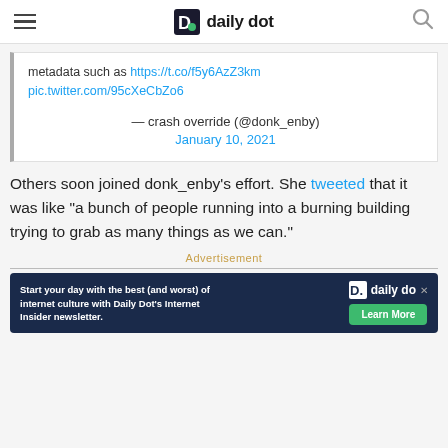daily dot
metadata such as https://t.co/f5y6AzZ3km pic.twitter.com/95cXeCbZo6 — crash override (@donk_enby) January 10, 2021
Others soon joined donk_enby's effort. She tweeted that it was like "a bunch of people running into a burning building trying to grab as many things as we can."
Advertisement
[Figure (screenshot): Daily Dot newsletter advertisement banner: 'Start your day with the best (and worst) of internet culture with Daily Dot's Internet Insider newsletter.' with a Learn More button]